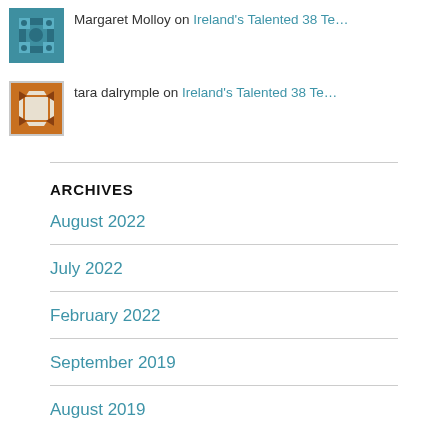Margaret Molloy on Ireland’s Talented 38 Te…
tara dalrymple on Ireland’s Talented 38 Te…
ARCHIVES
August 2022
July 2022
February 2022
September 2019
August 2019